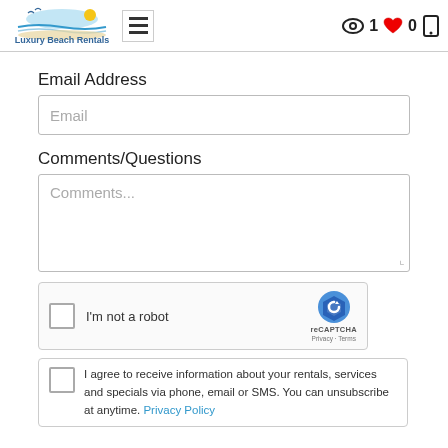Luxury Beach Rentals — navigation header with menu, view count: 1, favorites: 0, mobile icon
Email Address
Email (placeholder)
Comments/Questions
Comments... (placeholder)
[Figure (other): reCAPTCHA widget: checkbox labelled I'm not a robot with reCAPTCHA logo, Privacy and Terms links]
I agree to receive information about your rentals, services and specials via phone, email or SMS. You can unsubscribe at anytime. Privacy Policy